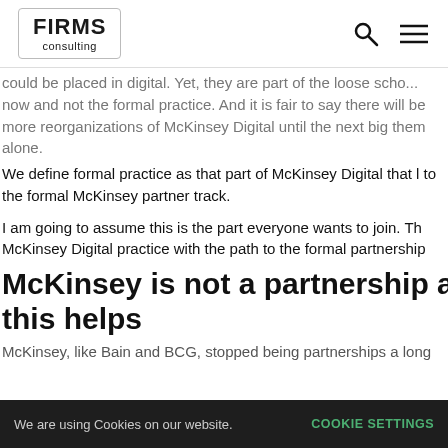FIRMS consulting
could be placed in digital. Yet, they are part of the loose school now and not the formal practice. And it is fair to say there will be more reorganizations of McKinsey Digital until the next big them alone. We define formal practice as that part of McKinsey Digital that leads to the formal McKinsey partner track.
I am going to assume this is the part everyone wants to join. The McKinsey Digital practice with the path to the formal partnership
McKinsey is not a partnership a this helps
McKinsey, like Bain and BCG, stopped being partnerships a long
We are using Cookies on our website. COOKIE SETTINGS